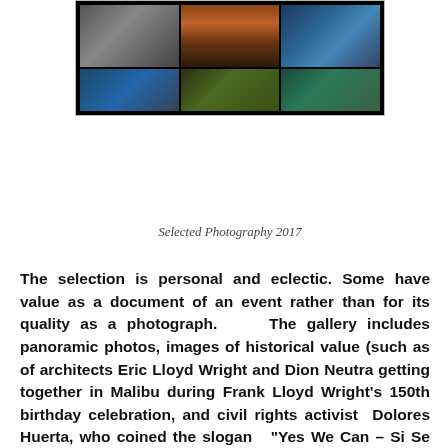[Figure (photo): Grid of selected photographs 2017, showing various artistic and documentary photos in a collage format with dark background]
Selected Photography 2017
The selection is personal and eclectic. Some have value as a document of an event rather than for its quality as a photograph. The gallery includes panoramic photos, images of historical value (such as of architects Eric Lloyd Wright and Dion Neutra getting together in Malibu during Frank Lloyd Wright's 150th birthday celebration, and civil rights activist Dolores Huerta, who coined the slogan “Yes We Can – Si Se Puede,” borrowed by Obama ; film directors, producers and actors at Q & As' we frequented; Richard King's memorial and the spreading of his ashes; and some